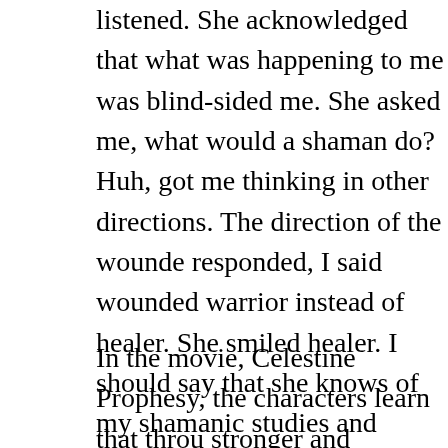listened. She acknowledged that what was happening to me was blind-sided me. She asked me, what would a shaman do? Huh, got me thinking in other directions. The direction of the wounde responded, I said wounded warrior instead of healer. She smiled healer. I should say that she knows of my shamanic studies and Ingerman and Hank Wesselman's, Awakening to the Spirit Worl one thing she admired the most in me was through all the advers life, I have risen from them higher and stronger. I used that to h the wounded healer. I must admit that is why I decided to be ver also why my Cherokee friends named me Unega Waya, White W pathfinder and teacher. I have embraced that spirit. So as I craw share with you some observations.
In the movie, Celestine Prophesy, the characters learn that throu stronger and empower each other. The greatest power is love. I h last to get things. I am thick. In high school, I excelled in Algeb should be a mathematician. I saw no purpose for algebra so I co later years when I took up programming and learned that it is al can say the same about reading Celestine Prophesy and watchin